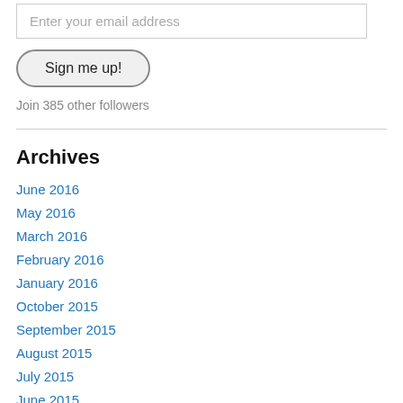Enter your email address
Sign me up!
Join 385 other followers
Archives
June 2016
May 2016
March 2016
February 2016
January 2016
October 2015
September 2015
August 2015
July 2015
June 2015
May 2015